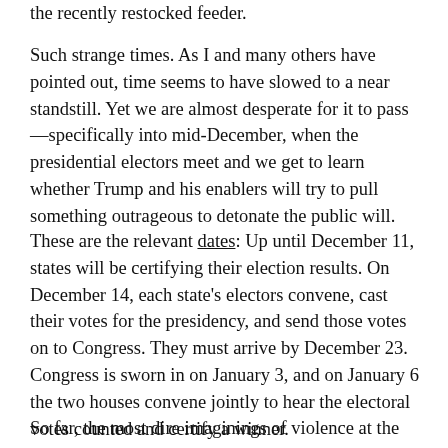the recently restocked feeder.
Such strange times. As I and many others have pointed out, time seems to have slowed to a near standstill. Yet we are almost desperate for it to pass—specifically into mid-December, when the presidential electors meet and we get to learn whether Trump and his enablers will try to pull something outrageous to detonate the public will.
These are the relevant dates: Up until December 11, states will be certifying their election results. On December 14, each state's electors convene, cast their votes for the presidency, and send those votes on to Congress. They must arrive by December 23.  Congress is sworn in on January 3, and on January 6 the two houses convene jointly to hear the electoral votes counted and certify a winner.
So far, the most dire imaginings of violence at the polls or